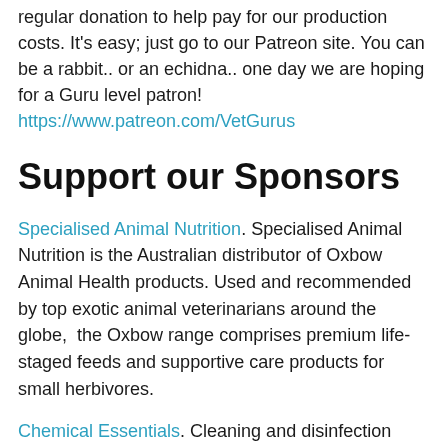regular donation to help pay for our production costs. It's easy; just go to our Patreon site. You can be a rabbit.. or an echidna.. one day we are hoping for a Guru level patron!
https://www.patreon.com/VetGurus
Support our Sponsors
Specialised Animal Nutrition. Specialised Animal Nutrition is the Australian distributor of Oxbow Animal Health products. Used and recommended by top exotic animal veterinarians around the globe, the Oxbow range comprises premium life-staged feeds and supportive care products for small herbivores.
Chemical Essentials. Cleaning and disinfection products and solutions for a wide variety of industries throughout Australia, as well as